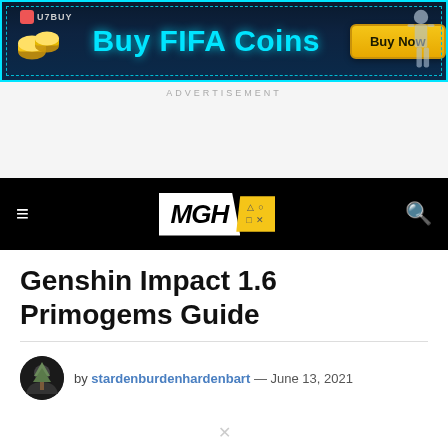[Figure (illustration): U7BUY advertisement banner: 'Buy FIFA Coins' with a 'Buy Now' button on a dark blue background with cyan border accents and a soccer player silhouette]
ADVERTISEMENT
[Figure (logo): MGH gaming website navigation bar with hamburger menu icon on left, MGH logo in center (white and yellow parallelogram), and search icon on right, all on black background]
Genshin Impact 1.6 Primogems Guide
by stardenburdenhardenbart — June 13, 2021